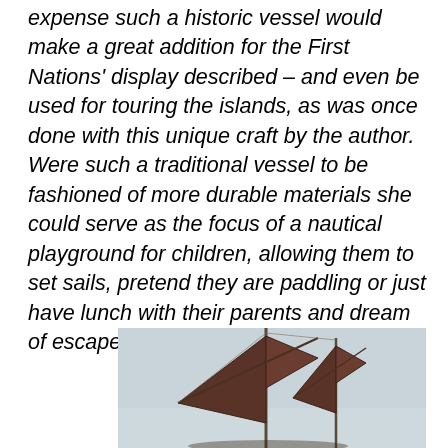expense such a historic vessel would make a great addition for the First Nations' display described – and even be used for touring the islands, as was once done with this unique craft by the author. Were such a traditional vessel to be fashioned of more durable materials she could serve as the focus of a nautical playground for children, allowing them to set sails, pretend they are paddling or just have lunch with their parents and dream of escape, as I once did and still do…
[Figure (photo): Photograph of a traditional sailing vessel with dark sails against a light sky, partially cropped at bottom of page]